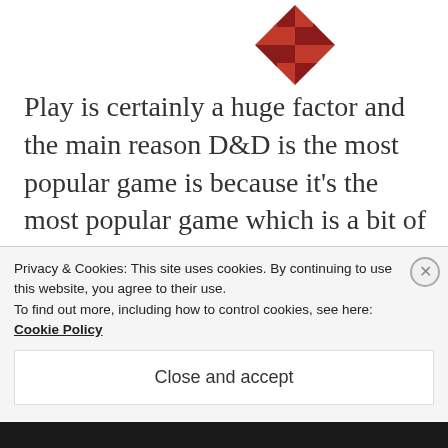[Figure (logo): D&D / WOTC style geometric logo in dark red/maroon with diamond and triangular shapes]
Play is certainly a huge factor and the main reason D&D is the most popular game is because it's the most popular game which is a bit of a tautology but holds true.
Although it's interesting to note that 4E, which changed the rules of D&D significantly, split the D&D
Privacy & Cookies: This site uses cookies. By continuing to use this website, you agree to their use.
To find out more, including how to control cookies, see here: Cookie Policy
Close and accept